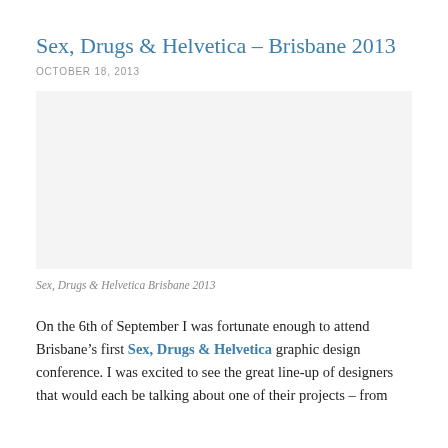Sex, Drugs & Helvetica – Brisbane 2013
OCTOBER 18, 2013
[Figure (photo): Image placeholder for Sex, Drugs & Helvetica Brisbane 2013 event photo]
Sex, Drugs & Helvetica Brisbane 2013
On the 6th of September I was fortunate enough to attend Brisbane's first Sex, Drugs & Helvetica graphic design conference. I was excited to see the great line-up of designers that would each be talking about one of their projects – from